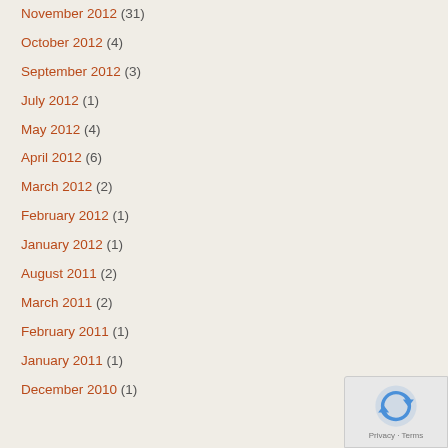November 2012 (31)
October 2012 (4)
September 2012 (3)
July 2012 (1)
May 2012 (4)
April 2012 (6)
March 2012 (2)
February 2012 (1)
January 2012 (1)
August 2011 (2)
March 2011 (2)
February 2011 (1)
January 2011 (1)
December 2010 (1)